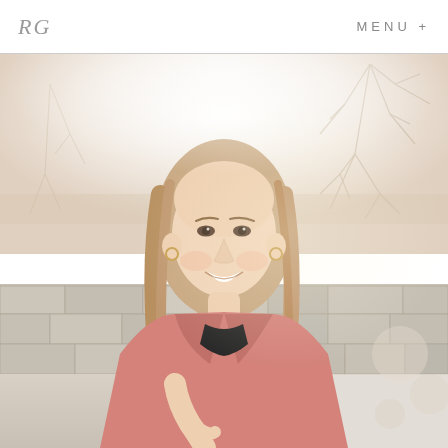RG   MENU +
[Figure (photo): Portrait photo of a young woman with long light brown hair, smiling, wearing a pink jacket over a black top, standing outdoors in front of a stone wall with blurred bare trees in the background. Warm natural lighting.]